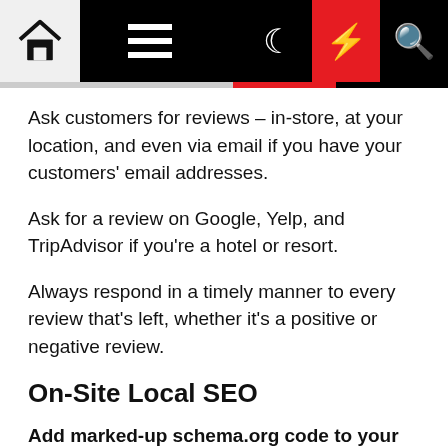Navigation bar with home, menu, moon, lightning, and search icons
Ask customers for reviews – in-store, at your location, and even via email if you have your customers' email addresses.
Ask for a review on Google, Yelp, and TripAdvisor if you're a hotel or resort.
Always respond in a timely manner to every review that's left, whether it's a positive or negative review.
On-Site Local SEO
Add marked-up schema.org code to your NAP on your website.
The name, address, and phone number on your site should be marked up with the proper code.